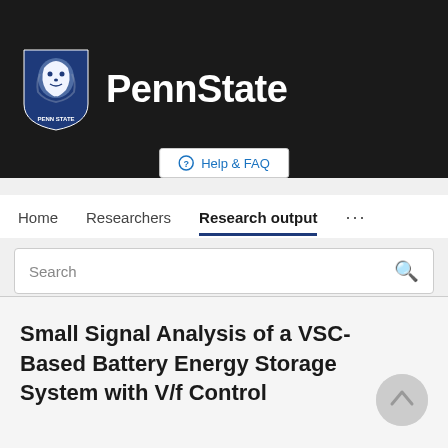[Figure (logo): Penn State University logo: blue lion shield on left, bold white PennState text on right, on a dark/black background header bar]
Help & FAQ
Home   Researchers   Research output   ...
Search
Small Signal Analysis of a VSC-Based Battery Energy Storage System with V/f Control